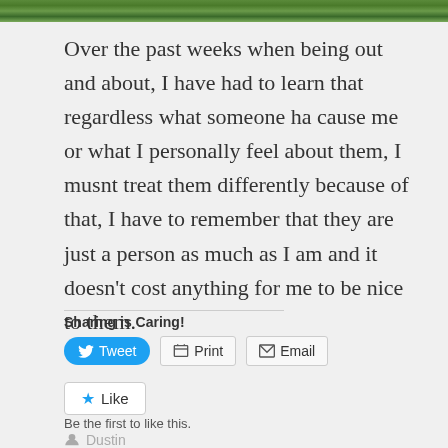[Figure (photo): Green foliage/nature image strip at top of page]
Over the past weeks when being out and about, I have had to learn that regardless what someone ha cause me or what I personally feel about them, I musnt treat them differently because of that, I have to remember that they are just a person as much as I am and it doesn't cost anything for me to be nice to them.
Sharing is Caring!
Tweet  Print  Email
Like
Be the first to like this.
Dustin